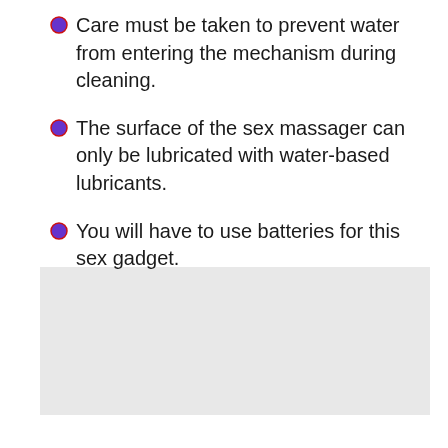Care must be taken to prevent water from entering the mechanism during cleaning.
The surface of the sex massager can only be lubricated with water-based lubricants.
You will have to use batteries for this sex gadget.